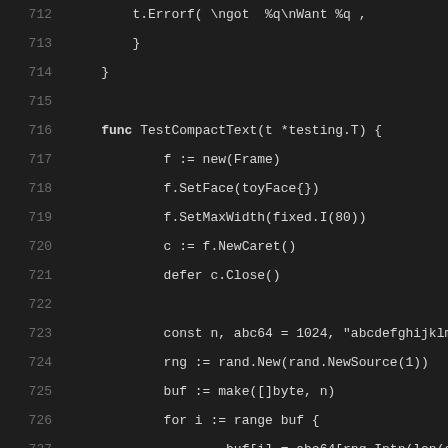Source code lines 712-733, Go programming language, TestCompactText function